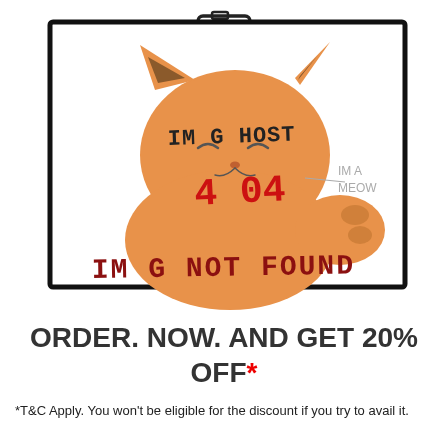[Figure (illustration): A humorous hand-drawn illustration of an orange cartoon cat inside a rectangular frame with a thick black border. At the top of the frame is a camera icon. The cat has brown ear tips and a chubby face. Written across the cat in dark handwritten text is 'IM G HOST'. In red handwritten text in the center is '404'. To the right of the cat's face, in small grey handwritten text, is 'IM A MEOW'. At the bottom in dark red handwritten text is 'IM G NOT FOUND'.]
ORDER. NOW. AND GET 20% OFF*
*T&C Apply. You won't be eligible for the discount if you try to avail it.